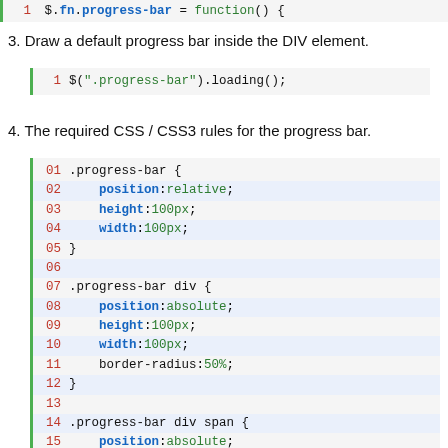[Figure (screenshot): Partial code snippet at top of page showing line with $.fn.progress-bar assignment]
3. Draw a default progress bar inside the DIV element.
[Figure (screenshot): Code block line 1: $(".progress-bar").loading();]
4. The required CSS / CSS3 rules for the progress bar.
[Figure (screenshot): Code block lines 01-18 showing CSS rules for .progress-bar, .progress-bar div, and .progress-bar div span selectors]